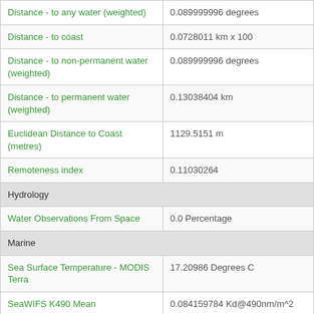| Feature | Value |
| --- | --- |
| Distance - to any water (weighted) | 0.089999996 degrees |
| Distance - to coast | 0.0728011 km x 100 |
| Distance - to non-permanent water (weighted) | 0.089999996 degrees |
| Distance - to permanent water (weighted) | 0.13038404 km |
| Euclidean Distance to Coast (metres) | 1129.5151 m |
| Remoteness index | 0.11030264 |
| Hydrology |  |
| Water Observations From Space | 0.0 Percentage |
| Marine |  |
| Sea Surface Temperature - MODIS Terra | 17.20986 Degrees C |
| SeaWIFS K490 Mean | 0.084159784 Kd@490nm/m^2 |